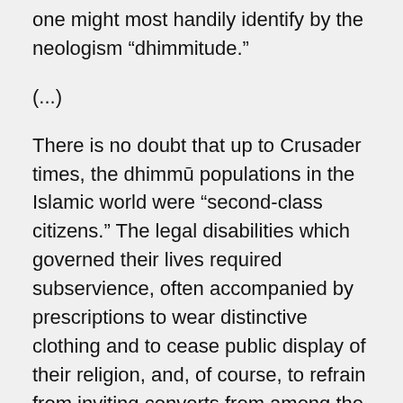one might most handily identify by the neologism “dhimmitude.”
(…)
There is no doubt that up to Crusader times, the dhimmū populations in the Islamic world were “second-class citizens.” The legal disabilities which governed their lives required subservience, often accompanied by prescriptions to wear distinctive clothing and to cease public display of their religion, and, of course, to refrain from inviting converts from among the Muslims. What is more, Christian wealth, buildings, institutions, and properties were often subject to seizure. As a consequence, over the course of time, the number of bishoprics, churches,